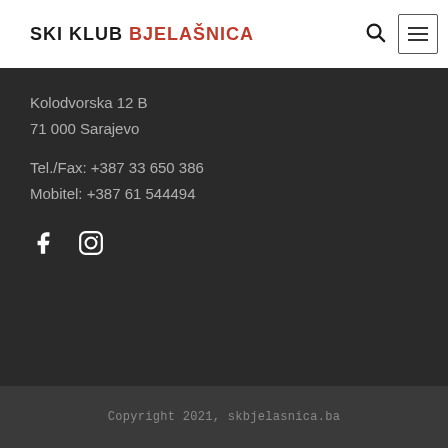SKI KLUB BJELAŠNICA
Kolodvorska 12 B
71 000 Sarajevo
Tel./Fax: +387 33 650 386
Mobitel: +387 61 544494
[Figure (other): Facebook and Instagram social media icons]
Copyright 2021, skbjelasnica.ba